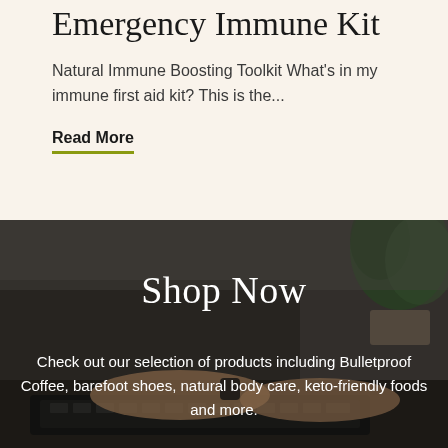Emergency Immune Kit
Natural Immune Boosting Toolkit What's in my immune first aid kit?  This is the...
Read More
[Figure (photo): Person typing on a laptop keyboard with a potted plant in the background]
Shop Now
Check out our selection of products including Bulletproof Coffee, barefoot shoes, natural body care, keto-friendly foods and more.